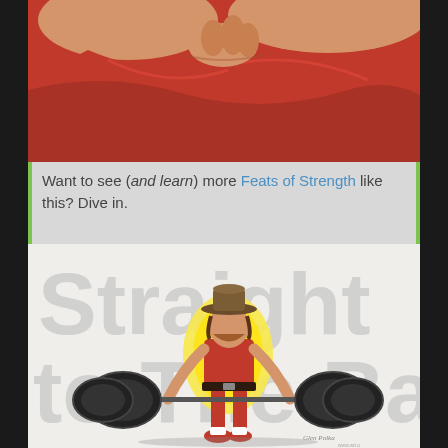[Figure (photo): Close-up photo of a person in a red shirt, hands/fingers visible near chest area, skin and red fabric visible]
Want to see (and learn) more Feats of Strength like this? Dive in.
[Figure (illustration): Illustrated book/program cover showing a muscular man in a red tank top and cowboy hat performing a deadlift with a heavy barbell. Large stylized text reads 'Straight to the Bar' in the background. Artist signature visible in lower right corner.]